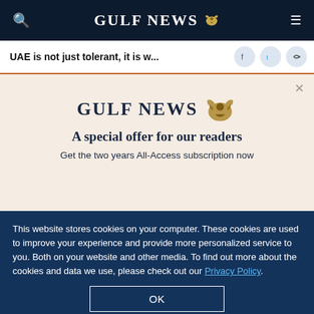GULF NEWS
UAE is not just tolerant, it is w...
A special offer for our readers
Get the two years All-Access subscription now
This website stores cookies on your computer. These cookies are used to improve your experience and provide more personalized service to you. Both on your website and other media. To find out more about the cookies and data we use, please check out our Privacy Policy.
OK